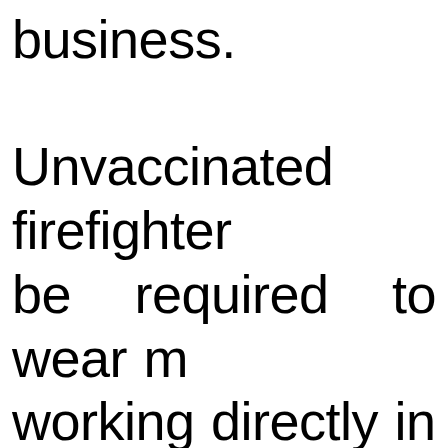business. Unvaccinated firefighters will be required to wear masks when working directly in the administration building. To assist in protecting the health and safety of both CSRB staff and the public, the vaccination requirements for